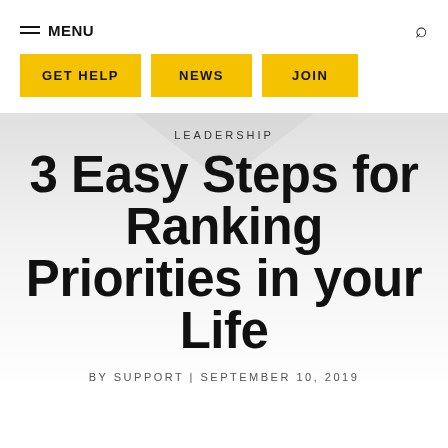MENU
GET HELP
NEWS
JOIN
LEADERSHIP
3 Easy Steps for Ranking Priorities in your Life
BY SUPPORT | SEPTEMBER 10, 2019